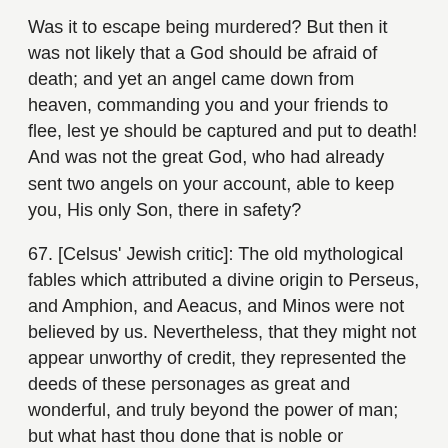Was it to escape being murdered? But then it was not likely that a God should be afraid of death; and yet an angel came down from heaven, commanding you and your friends to flee, lest ye should be captured and put to death! And was not the great God, who had already sent two angels on your account, able to keep you, His only Son, there in safety?
67. [Celsus' Jewish critic]: The old mythological fables which attributed a divine origin to Perseus, and Amphion, and Aeacus, and Minos were not believed by us. Nevertheless, that they might not appear unworthy of credit, they represented the deeds of these personages as great and wonderful, and truly beyond the power of man; but what hast thou done that is noble or wonderful either in deed or in word? Thou hast made no manifestation to us, although they challenged you in the temple to exhibit some unmistakable sign that you were the Son of God.
68. [Celsus' Jewish critic]:; and he adds: Well, let us believe that these cures, or the resurrection, or the feeding of a multitude with a few loaves, from which many fragments remained over, or those other stories of a marvelous nature